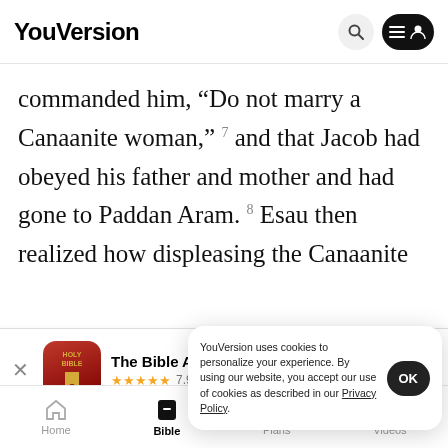YouVersion
commanded him, “Do not marry a Canaanite woman,” 7 and that Jacob had obeyed his father and mother and had gone to Paddan Aram. 8 Esau then realized how displeasing the Canaanite
[Figure (screenshot): The Bible App banner with Holy Bible app icon, star rating 7.9M, and Download button]
Nebaio... in addit...
YouVersion uses cookies to personalize your experience. By using our website, you accept our use of cookies as described in our Privacy Policy.
Home  Bible  Plans  Videos